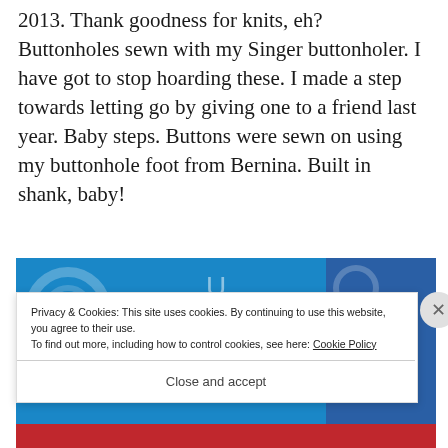2013. Thank goodness for knits, eh?  Buttonholes sewn with my Singer buttonholer. I have got to stop hoarding these. I made a step towards letting go by giving one to a friend last year. Baby steps. Buttons were sewn on using my buttonhole foot from Bernina. Built in shank, baby!
[Figure (screenshot): Blue background website image, partially visible behind cookie consent banner]
Privacy & Cookies: This site uses cookies. By continuing to use this website, you agree to their use.
To find out more, including how to control cookies, see here: Cookie Policy
Close and accept